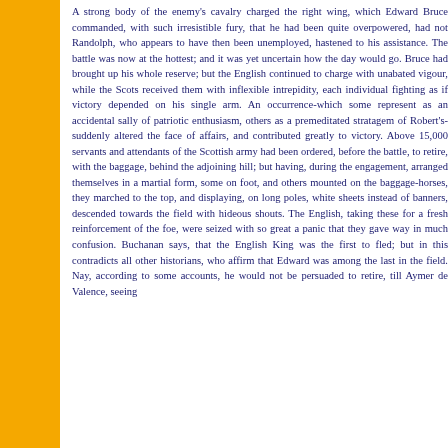A strong body of the enemy's cavalry charged the right wing, which Edward Bruce commanded, with such irresistible fury, that he had been quite overpowered, had not Randolph, who appears to have then been unemployed, hastened to his assistance. The battle was now at the hottest; and it was yet uncertain how the day would go. Bruce had brought up his whole reserve; but the English continued to charge with unabated vigour, while the Scots received them with inflexible intrepidity, each individual fighting as if victory depended on his single arm. An occurrence-which some represent as an accidental sally of patriotic enthusiasm, others as a premeditated stratagem of Robert's-suddenly altered the face of affairs, and contributed greatly to victory. Above 15,000 servants and attendants of the Scottish army had been ordered, before the battle, to retire, with the baggage, behind the adjoining hill; but having, during the engagement, arranged themselves in a martial form, some on foot, and others mounted on the baggage-horses, they marched to the top, and displaying, on long poles, white sheets instead of banners, descended towards the field with hideous shouts. The English, taking these for a fresh reinforcement of the foe, were seized with so great a panic that they gave way in much confusion. Buchanan says, that the English King was the first to fled; but in this contradicts all other historians, who affirm that Edward was among the last in the field. Nay, according to some accounts, he would not be persuaded to retire, till Aymer de Valence, seeing